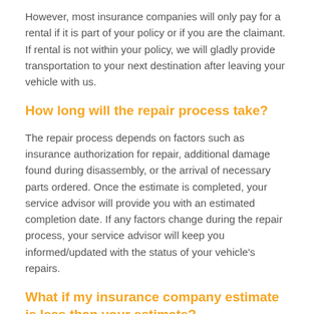However, most insurance companies will only pay for a rental if it is part of your policy or if you are the claimant. If rental is not within your policy, we will gladly provide transportation to your next destination after leaving your vehicle with us.
How long will the repair process take?
The repair process depends on factors such as insurance authorization for repair, additional damage found during disassembly, or the arrival of necessary parts ordered. Once the estimate is completed, your service advisor will provide you with an estimated completion date. If any factors change during the repair process, your service advisor will keep you informed/updated with the status of your vehicle's repairs.
What if my insurance company estimate is less than your estimate?
Many times, the insurance company will write a conservative estimate anticipating that there will be a supplement for any hidden